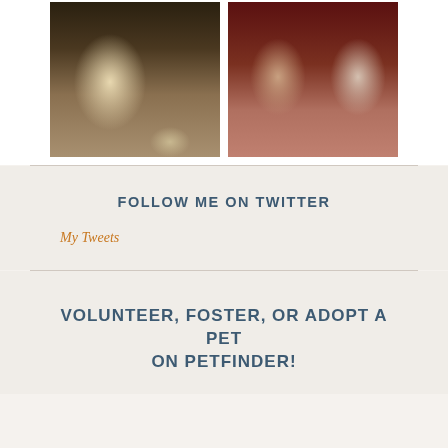[Figure (photo): Two photos side by side: left photo shows a man in a white t-shirt sitting and holding a phone, right photo shows two women sitting together posing for a photo]
FOLLOW ME ON TWITTER
My Tweets
VOLUNTEER, FOSTER, OR ADOPT A PET ON PETFINDER!